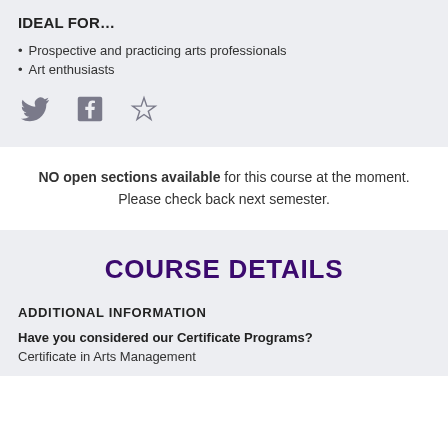IDEAL FOR…
Prospective and practicing arts professionals
Art enthusiasts
[Figure (illustration): Row of three social/action icons: Twitter bird icon, Facebook 'f' icon, and a star (bookmark/favorite) icon, all in grey.]
NO open sections available for this course at the moment. Please check back next semester.
COURSE DETAILS
ADDITIONAL INFORMATION
Have you considered our Certificate Programs?
Certificate in Arts Management